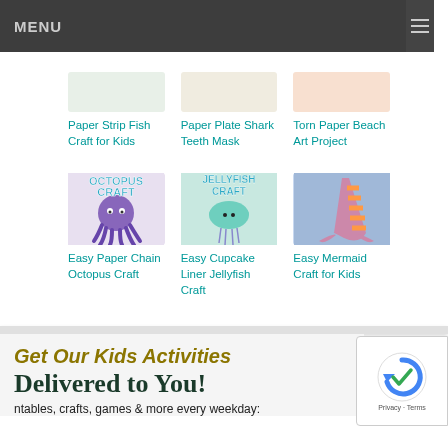MENU
Paper Strip Fish Craft for Kids
Paper Plate Shark Teeth Mask
Torn Paper Beach Art Project
[Figure (photo): Octopus Craft thumbnail with purple paper chain octopus and text 'OCTOPUS CRAFT']
Easy Paper Chain Octopus Craft
[Figure (photo): Jellyfish Craft thumbnail with cupcake liner jellyfish and text 'JELLYFISH CRAFT']
Easy Cupcake Liner Jellyfish Craft
[Figure (photo): Mermaid tail craft thumbnail with striped pink/orange paper mermaid tail on blue background]
Easy Mermaid Craft for Kids
Get Our Kids Activities Delivered to You!
ntables, crafts, games & more every weekday: